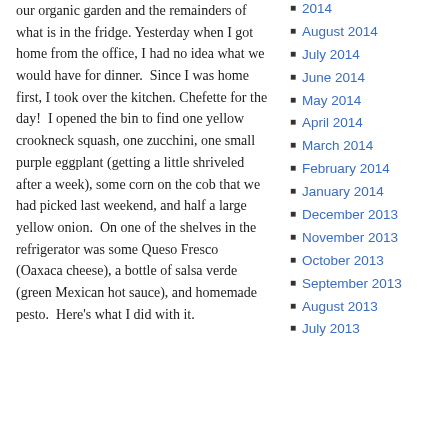our organic garden and the remainders of what is in the fridge. Yesterday when I got home from the office, I had no idea what we would have for dinner. Since I was home first, I took over the kitchen. Chefette for the day! I opened the bin to find one yellow crookneck squash, one zucchini, one small purple eggplant (getting a little shriveled after a week), some corn on the cob that we had picked last weekend, and half a large yellow onion. On one of the shelves in the refrigerator was some Queso Fresco (Oaxaca cheese), a bottle of salsa verde (green Mexican hot sauce), and homemade pesto. Here's what I did with it.
2014
August 2014
July 2014
June 2014
May 2014
April 2014
March 2014
February 2014
January 2014
December 2013
November 2013
October 2013
September 2013
August 2013
July 2013